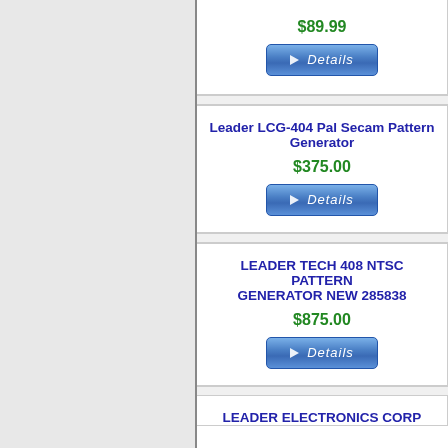$89.99
[Figure (other): Details button with play icon]
Leader LCG-404 Pal Secam Pattern Generator
$375.00
[Figure (other): Details button with play icon]
LEADER TECH 408 NTSC PATTERN GENERATOR NEW 285838
$875.00
[Figure (other): Details button with play icon]
LEADER ELECTRONICS CORP